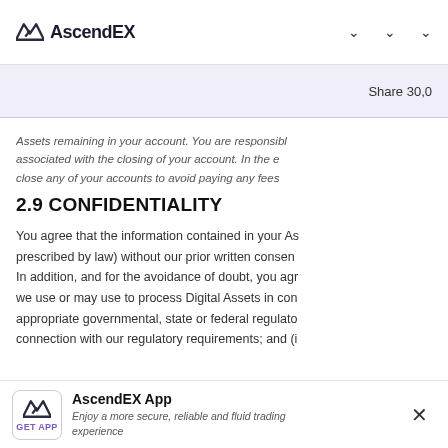AscendEX [logo] ∨ ∨ ∨
Share 30,0...
Assets remaining in your account. You are responsible associated with the closing of your account. In the close any of your accounts to avoid paying any fees
2.9 CONFIDENTIALITY
You agree that the information contained in your AscendEX account is confidential and may not be disclosed (except as prescribed by law) without our prior written consent. In addition, and for the avoidance of doubt, you agree that we use or may use to process Digital Assets in connection with appropriate governmental, state or federal regulatory requirements; and in connection with our regulatory requirements; and (i...
AscendEX App — Enjoy a more secure, reliable and fluid trading experience